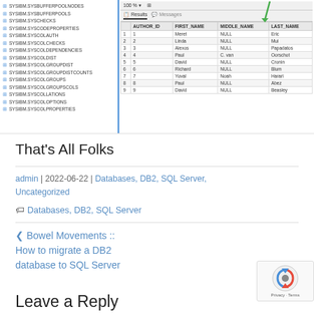[Figure (screenshot): Screenshot of a database tool showing a left panel with SYSIBM system table names and a right panel showing query results with columns AUTHOR_ID, FIRST_NAME, MIDDLE_NAME, LAST_NAME and 9 rows of data. A green arrow annotation points to the results area.]
That's All Folks
admin | 2022-06-22 | Databases, DB2, SQL Server, Uncategorized
🏷 Databases, DB2, SQL Server
< Bowel Movements :: How to migrate a DB2 database to SQL Server
Leave a Reply